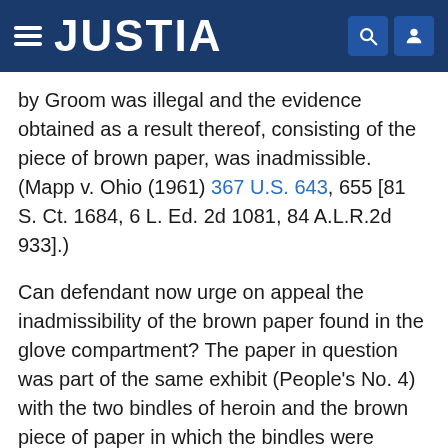JUSTIA
by Groom was illegal and the evidence obtained as a result thereof, consisting of the piece of brown paper, was inadmissible. (Mapp v. Ohio (1961) 367 U.S. 643, 655 [81 S. Ct. 1684, 6 L. Ed. 2d 1081, 84 A.L.R.2d 933].)
Can defendant now urge on appeal the inadmissibility of the brown paper found in the glove compartment? The paper in question was part of the same exhibit (People's No. 4) with the two bindles of heroin and the brown piece of paper in which the bindles were wrapped. fn. 7 People's Exhibit No. 4 for identification was thereafter offered in evidence during the testimony of prosecution witness Hillard M. Reeves, a criminalist for the Richmond Police Department. At that time, as defendant here concedes, the only objection interposed was that "a proper chain of possession" had not been established in respect to the entire exhibit. The objection was